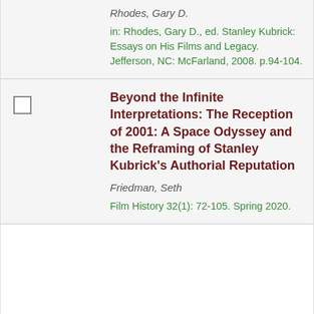Rhodes, Gary D.
in: Rhodes, Gary D., ed. Stanley Kubrick: Essays on His Films and Legacy. Jefferson, NC: McFarland, 2008. p.94-104.
Beyond the Infinite Interpretations: The Reception of 2001: A Space Odyssey and the Reframing of Stanley Kubrick's Authorial Reputation
Friedman, Seth
Film History 32(1): 72-105. Spring 2020.